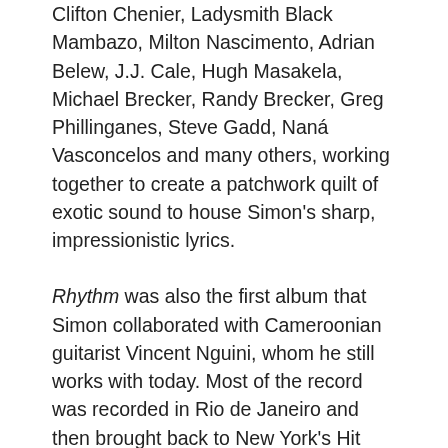Clifton Chenier, Ladysmith Black Mambazo, Milton Nascimento, Adrian Belew, J.J. Cale, Hugh Masakela, Michael Brecker, Randy Brecker, Greg Phillinganes, Steve Gadd, Naná Vasconcelos and many others, working together to create a patchwork quilt of exotic sound to house Simon's sharp, impressionistic lyrics.
Rhythm was also the first album that Simon collaborated with Cameroonian guitarist Vincent Nguini, whom he still works with today. Most of the record was recorded in Rio de Janeiro and then brought back to New York's Hit Factory for final touch ups. Together, Simon and Nguini fashioned finished songs out of the bare rhythm recordings captured in Rio for Simon to put his lyrics on.
Simon toured extensively after the release of the album, culminating in a free concert in New York City's Central Park in front of 750,000 attendees. (I was there!) While it